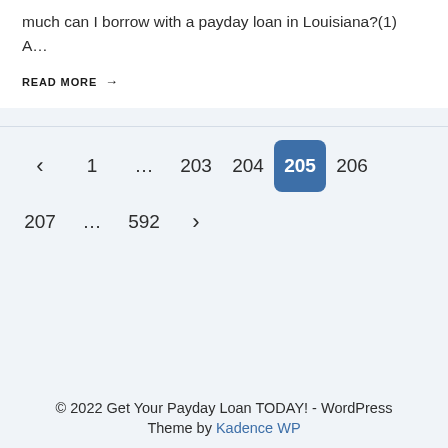much can I borrow with a payday loan in Louisiana?(1) A…
READ MORE →
‹  1  …  203  204  205  206  207  …  592  ›
© 2022 Get Your Payday Loan TODAY! - WordPress Theme by Kadence WP